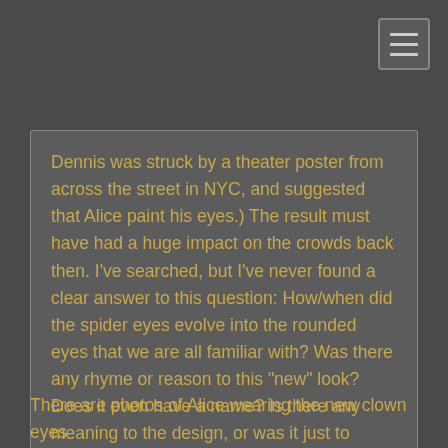Dennis was struck by a theater poster from across the street in NYC, and suggested that Alice paint his eyes.) The result must have had a huge impact on the crowds back then. I've searched, but I've never found a clear answer to this question: How/when did the spider eyes evolve into the rounded eyes that we are all familiar with? Was there any rhyme or reason to this "new" look? Does it even have a name? Is there any meaning to the design, or was it just to make him more visible to the audience? Thanks again, Dennis. I hope you're doing well!
PS: On this page from this website, the first image featuring the "new" look is credited to a show at the Cowtown Ballroom in Kansas City on December 16, 1971.
There are photos of Alice wearing the new clown eyes